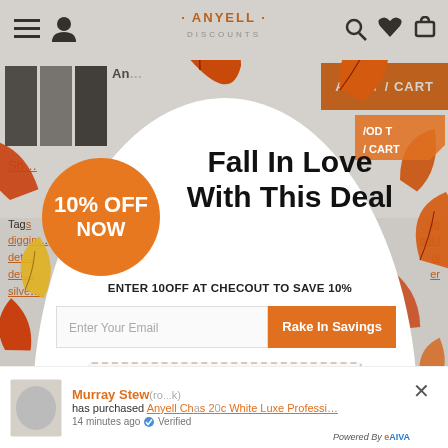[Figure (screenshot): E-commerce website screenshot showing Anyell Discounts store with navigation bar, product thumbnails, Add to Cart button, tags section with orange links, and a fall-themed popup discount overlay. The popup features a large orange circle badge reading '10% OFF NOW', bold text 'Fall In Love With This Deal', coupon instructions 'ENTER 10OFF AT CHECOUT TO SAVE 10%', email input field, 'Rake In Savings' orange button, dashed 'Your Discount Code' box, and 'CLICK HERE TO CLOSE' link. Fall leaves decorate the popup. Bottom shows purchase notification for Murray Stew who purchased Anyell product 14 minutes ago, Verified, powered by eAIVA.]